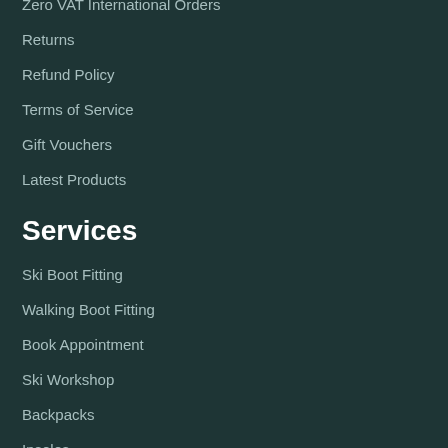Zero VAT International Orders
Returns
Refund Policy
Terms of Service
Gift Vouchers
Latest Products
Services
Ski Boot Fitting
Walking Boot Fitting
Book Appointment
Ski Workshop
Backpacks
Insoles
About Us